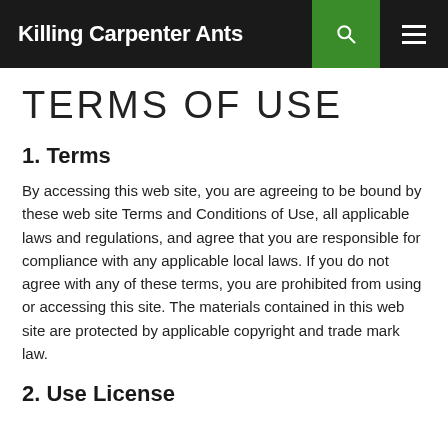Killing Carpenter Ants
TERMS OF USE
1. Terms
By accessing this web site, you are agreeing to be bound by these web site Terms and Conditions of Use, all applicable laws and regulations, and agree that you are responsible for compliance with any applicable local laws. If you do not agree with any of these terms, you are prohibited from using or accessing this site. The materials contained in this web site are protected by applicable copyright and trade mark law.
2. Use License